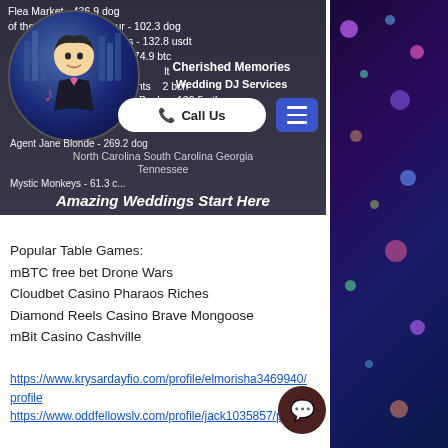[Figure (screenshot): Wedding DJ Services advertisement banner with circular DJ illustration, text listing various items with crypto values, Call Us button, menu button, states served, and Amazing Weddings Start Here tagline]
Popular Table Games:
mBTC free bet Drone Wars
Cloudbet Casino Pharaos Riches
Diamond Reels Casino Brave Mongoose
mBit Casino Cashville
https://www.krysardayfio.com/profile/elmorisha3469940/profile
https://www.oddfellowslv.com/profile/jack1035857/profile